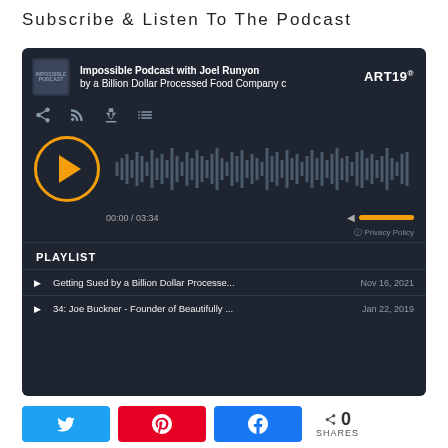Subscribe & Listen To The Podcast
[Figure (screenshot): ART19 podcast player embed showing 'Impossible Podcast with Joel Runyon' with waveform, play button, time 00:00/03:34, volume bar, and playlist with two items: 'Getting Sued by a Billion Dollar Processe...' (Nov 16, 2021) and '34: Joe Buckner - Founder of Beautifully ...' (Jan 22, 2019)]
Share buttons: Twitter, Pinterest, Facebook. 0 SHARES